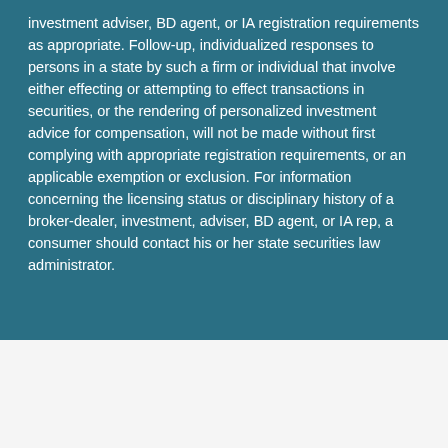investment adviser, BD agent, or IA registration requirements as appropriate. Follow-up, individualized responses to persons in a state by such a firm or individual that involve either effecting or attempting to effect transactions in securities, or the rendering of personalized investment advice for compensation, will not be made without first complying with appropriate registration requirements, or an applicable exemption or exclusion. For information concerning the licensing status or disciplinary history of a broker-dealer, investment, adviser, BD agent, or IA rep, a consumer should contact his or her state securities law administrator.
Connect